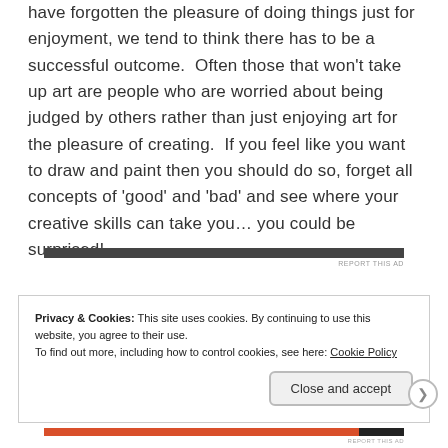have forgotten the pleasure of doing things just for enjoyment, we tend to think there has to be a successful outcome.  Often those that won't take up art are people who are worried about being judged by others rather than just enjoying art for the pleasure of creating.  If you feel like you want to draw and paint then you should do so, forget all concepts of 'good' and 'bad' and see where your creative skills can take you… you could be surprised!
[Figure (other): Dark horizontal advertisement bar with 'REPORT THIS AD' text below it]
Privacy & Cookies: This site uses cookies. By continuing to use this website, you agree to their use.
To find out more, including how to control cookies, see here: Cookie Policy
[Figure (other): Close and accept button]
[Figure (other): Colored advertisement bar at bottom with 'REPORT THIS AD' text]